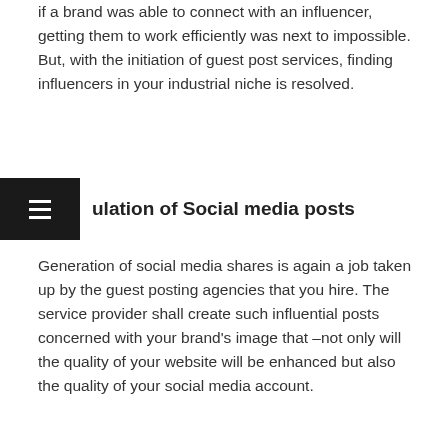if a brand was able to connect with an influencer, getting them to work efficiently was next to impossible. But, with the initiation of guest post services, finding influencers in your industrial niche is resolved.
ulation of Social media posts
Generation of social media shares is again a job taken up by the guest posting agencies that you hire. The service provider shall create such influential posts concerned with your brand's image that –not only will the quality of your website will be enhanced but also the quality of your social media account.
Guest post service experts function in such a way that they select the websites with maximum social media activities and link them with your webpage through guest posts. Also, with the help of the best services in town, creating infographics for your company will tremendously allure the